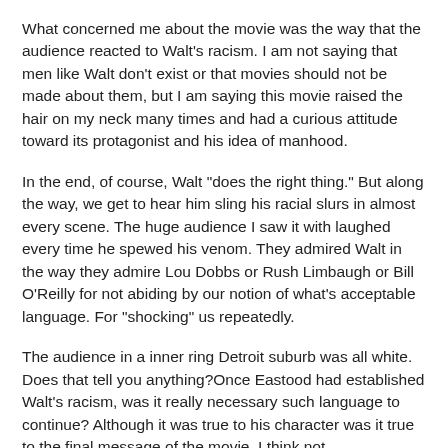What concerned me about the movie was the way that the audience reacted to Walt's racism. I am not saying that men like Walt don't exist or that movies should not be made about them, but I am saying this movie raised the hair on my neck many times and had a curious attitude toward its protagonist and his idea of manhood.
In the end, of course, Walt "does the right thing." But along the way, we get to hear him sling his racial slurs in almost every scene. The huge audience I saw it with laughed every time he spewed his venom. They admired Walt in the way they admire Lou Dobbs or Rush Limbaugh or Bill O'Reilly for not abiding by our notion of what's acceptable language. For "shocking" us repeatedly.
The audience in a inner ring Detroit suburb was all white. Does that tell you anything?Once Eastood had established Walt's racism, was it really necessary such language to continue? Although it was true to his character was it true to the final message of the movie. I think not.
I liked the movie at points for trying to deal with a hard